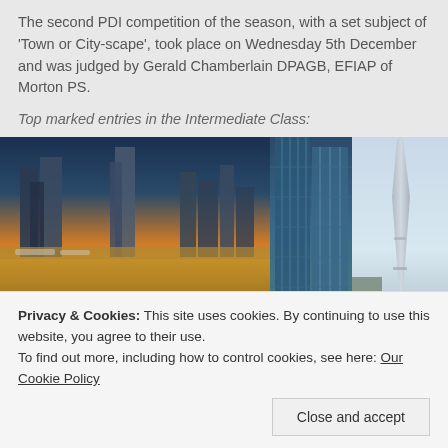The second PDI competition of the season, with a set subject of 'Town or City-scape', took place on Wednesday 5th December and was judged by Gerald Chamberlain DPAGB, EFIAP of Morton PS.
Top marked entries in the Intermediate Class:
[Figure (photo): Three city/urban photographs side by side: left shows Dubai Marina at sunset with golden sky and skyscrapers reflected in water; middle shows modern glass buildings close-up; right shows the Burj Khalifa tower against a light sky.]
Privacy & Cookies: This site uses cookies. By continuing to use this website, you agree to their use. To find out more, including how to control cookies, see here: Our Cookie Policy